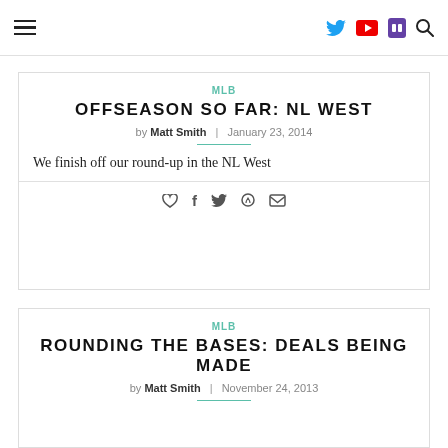[hamburger menu] [Twitter icon] [YouTube icon] [Twitch icon] [Search icon]
MLB
OFFSEASON SO FAR: NL WEST
by Matt Smith  |  January 23, 2014
We finish off our round-up in the NL West
MLB
ROUNDING THE BASES: DEALS BEING MADE
by Matt Smith  |  November 24, 2013